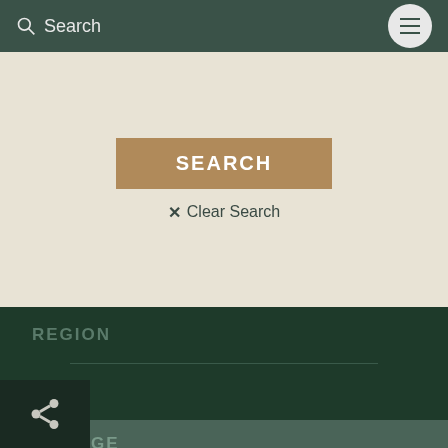Search
SEARCH
× Clear Search
REGION
VILLAGE
Burno Oklyabrakoya
GR Village Coordinator